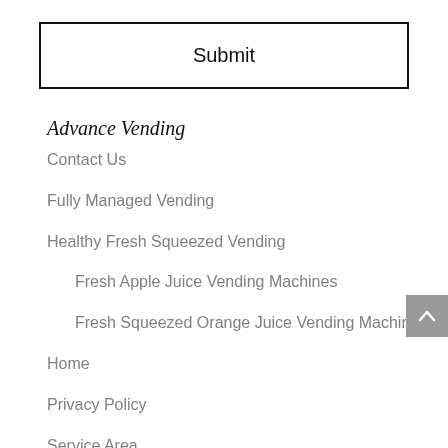Submit
Advance Vending
Contact Us
Fully Managed Vending
Healthy Fresh Squeezed Vending
Fresh Apple Juice Vending Machines
Fresh Squeezed Orange Juice Vending Machines
Home
Privacy Policy
Service Area
Utah Vending